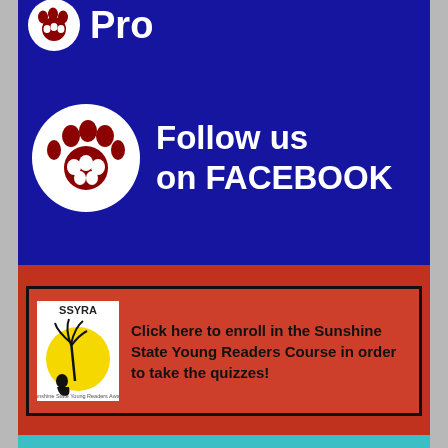Pro
Follow us on FACEBOOK
[Figure (infographic): SSYRA logo: yellow sun with black palm tree silhouette and person reading, with 'SSYRA' text at top]
Click here to enroll in the Sunshine State Young Readers Course in order to take the quizzes!
A Peek into our Student Clubs at CHES...